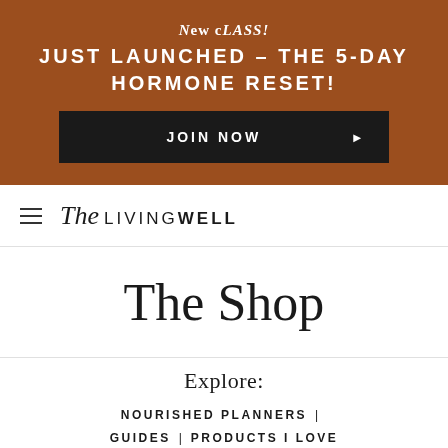[Figure (screenshot): Brown promotional banner for 'The Living Well' website advertising a new class: 'JUST LAUNCHED – THE 5-DAY HORMONE RESET!' with a dark 'JOIN NOW' button with a right arrow.]
The LIVING WELL
The Shop
Explore: NOURISHED PLANNERS | GUIDES | PRODUCTS I LOVE